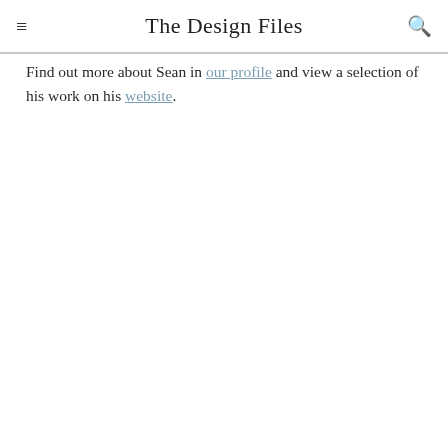The Design Files
Find out more about Sean in our profile and view a selection of his work on his website.